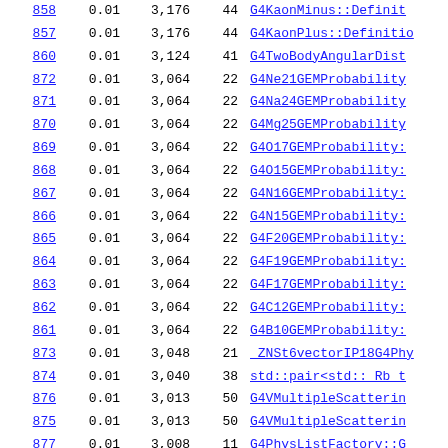| ID | Score | Lines | Files | Symbol |
| --- | --- | --- | --- | --- |
| 858 | 0.01 | 3,176 | 44 | G4KaonMinus::Definit... |
| 857 | 0.01 | 3,176 | 44 | G4KaonPlus::Definitio... |
| 860 | 0.01 | 3,124 | 41 | G4TwoBodyAngularDist... |
| 872 | 0.01 | 3,064 | 22 | G4Ne21GEMProbability... |
| 871 | 0.01 | 3,064 | 22 | G4Na24GEMProbability... |
| 870 | 0.01 | 3,064 | 22 | G4Mg25GEMProbability... |
| 869 | 0.01 | 3,064 | 22 | G4O17GEMProbability::... |
| 868 | 0.01 | 3,064 | 22 | G4O15GEMProbability::... |
| 867 | 0.01 | 3,064 | 22 | G4N16GEMProbability::... |
| 866 | 0.01 | 3,064 | 22 | G4N15GEMProbability::... |
| 865 | 0.01 | 3,064 | 22 | G4F20GEMProbability::... |
| 864 | 0.01 | 3,064 | 22 | G4F19GEMProbability::... |
| 863 | 0.01 | 3,064 | 22 | G4F17GEMProbability::... |
| 862 | 0.01 | 3,064 | 22 | G4C12GEMProbability::... |
| 861 | 0.01 | 3,064 | 22 | G4B10GEMProbability::... |
| 873 | 0.01 | 3,048 | 21 | _ZNSt6vectorIP18G4Phy... |
| 874 | 0.01 | 3,040 | 38 | std::pair<std:: Rb_t... |
| 876 | 0.01 | 3,013 | 50 | G4VMultipleScatterin... |
| 875 | 0.01 | 3,013 | 50 | G4VMultipleScatterin... |
| 877 | 0.01 | 3,008 | 11 | G4PhysListFactory::G... |
| 878 | 0.01 | 2,968 | 26 | G4eBremsstrahlungRel... |